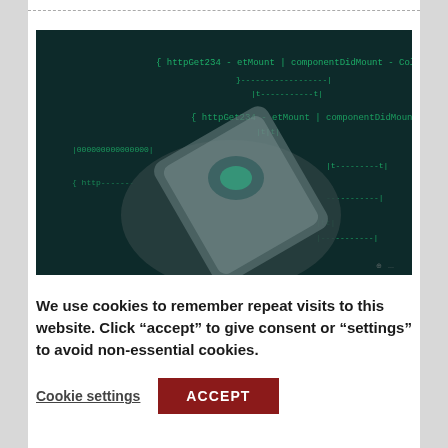[Figure (photo): A gloved hand holding a smartphone against a dark background with green code/text overlaid, suggesting cybersecurity or hacking theme.]
We use cookies to remember repeat visits to this website. Click “accept” to give consent or “settings” to avoid non-essential cookies.
Cookie settings   ACCEPT